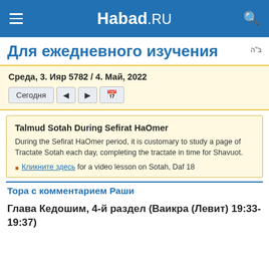Habad.RU
Для ежедневного изучения
בּ"ה
Среда, 3. Ияр 5782 / 4. Май, 2022
Сегодня ◄ ► 📅
Talmud Sotah During Sefirat HaOmer
During the Sefirat HaOmer period, it is customary to study a page of Tractate Sotah each day, completing the tractate in time for Shavuot.
Кликните здесь for a video lesson on Sotah, Daf 18
Тора с комментарием Раши
Глава Кедошим, 4-й раздел (Ваикра (Левит) 19:33-19:37)